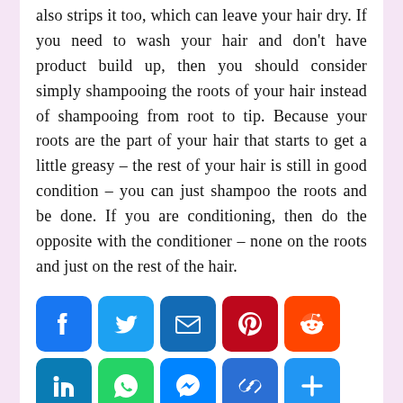also strips it too, which can leave your hair dry. If you need to wash your hair and don't have product build up, then you should consider simply shampooing the roots of your hair instead of shampooing from root to tip. Because your roots are the part of your hair that starts to get a little greasy – the rest of your hair is still in good condition – you can just shampoo the roots and be done. If you are conditioning, then do the opposite with the conditioner – none on the roots and just on the rest of the hair.
[Figure (other): Social sharing buttons: Facebook, Twitter, Email, Pinterest, Reddit, LinkedIn, WhatsApp, Messenger, Copy Link, More]